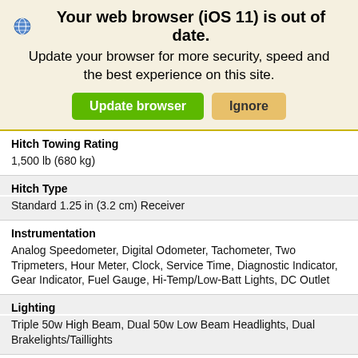[Figure (screenshot): Browser warning banner with globe icon, bold heading 'Your web browser (iOS 11) is out of date.', subtitle text, and two buttons: 'Update browser' (green) and 'Ignore' (tan).]
Hitch Towing Rating
1,500 lb (680 kg)
Hitch Type
Standard 1.25 in (3.2 cm) Receiver
Instrumentation
Analog Speedometer, Digital Odometer, Tachometer, Two Tripmeters, Hour Meter, Clock, Service Time, Diagnostic Indicator, Gear Indicator, Fuel Gauge, Hi-Temp/Low-Batt Lights, DC Outlet
Lighting
Triple 50w High Beam, Dual 50w Low Beam Headlights, Dual Brakelights/Taillights
Rear Suspension
Dual A-Arm, Rolled 10.25 in (26 cm) Travel; heavy duty shocks